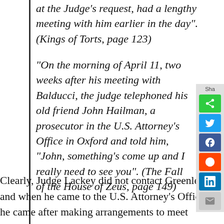at the Judge's request, had a lengthy meeting with him earlier in the day". (Kings of Torts, page 123)
“On the morning of April 11, two weeks after his meeting with Balducci, the judge telephoned his old friend John Hailman, a prosecutor in the U.S. Attorney’s Office in Oxford and told him, “John, something’s come up and I really need to see you”. (The Fall of the House of Zeus, page 149)
Clearly, Judge Lackey did not contact Greenlee and when he came to the U.S. Attorney’s Office, he came after making arrangements to meet